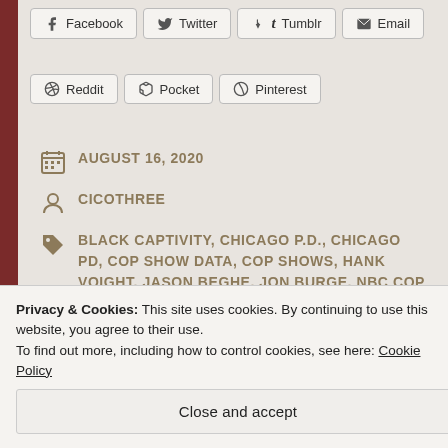Facebook
Twitter
Tumblr
Email
Reddit
Pocket
Pinterest
AUGUST 16, 2020
CICOTHREE
BLACK CAPTIVITY, CHICAGO P.D., CHICAGO PD, COP SHOW DATA, COP SHOWS, HANK VOIGHT, JASON BEGHE, JON BURGE, NBC COP SHOWS, WOLF ENTERTAINMENT
Privacy & Cookies: This site uses cookies. By continuing to use this website, you agree to their use. To find out more, including how to control cookies, see here: Cookie Policy
Close and accept